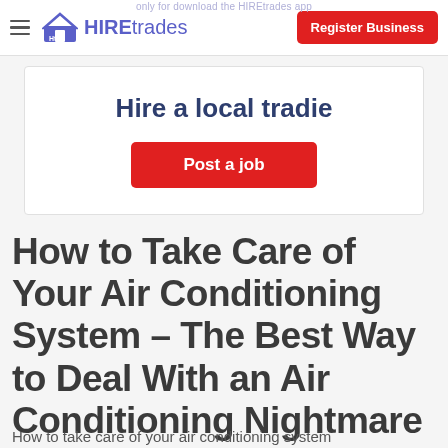HIREtrades — Register Business
only for download the HIREtrades app
Hire a local tradie
Post a job
How to Take Care of Your Air Conditioning System – The Best Way to Deal With an Air Conditioning Nightmare
How to take care of your air conditioning system